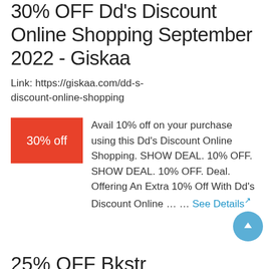30% OFF Dd's Discount Online Shopping September 2022 - Giskaa
Link: https://giskaa.com/dd-s-discount-online-shopping
30% off  Avail 10% off on your purchase using this Dd's Discount Online Shopping. SHOW DEAL. 10% OFF. SHOW DEAL. 10% OFF. Deal. Offering An Extra 10% Off With Dd's Discount Online … … See Details
25% OFF Bkstr